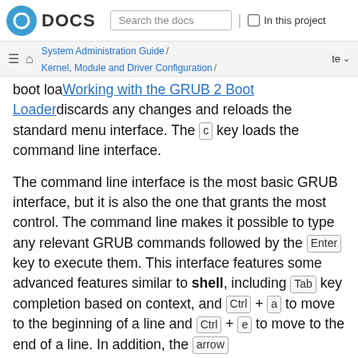Fedora DOCS | Search the docs | In this project
System Administration Guide / Kernel, Module and Driver Configuration / Working with the GRUB 2 Boot Loader / te
boot loader. Working with the GRUB 2 Boot Loader discards any changes and reloads the standard menu interface. The c key loads the command line interface.
The command line interface is the most basic GRUB interface, but it is also the one that grants the most control. The command line makes it possible to type any relevant GRUB commands followed by the Enter key to execute them. This interface features some advanced features similar to shell, including Tab key completion based on context, and Ctrl + a to move to the beginning of a line and Ctrl + e to move to the end of a line. In addition, the arrow